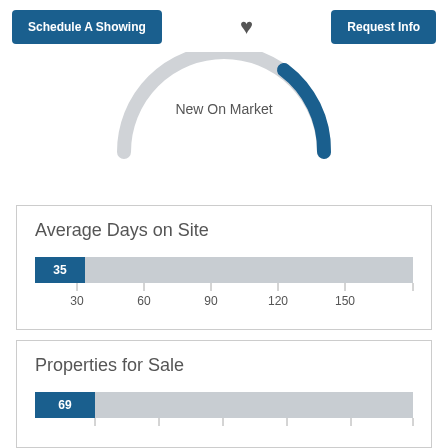Schedule A Showing
♥
Request Info
[Figure (donut-chart): Partial donut/ring chart showing 'New On Market' status with a blue arc segment on a gray ring, mostly visible at top half]
Average Days on Site
[Figure (bar-chart): Average Days on Site]
Properties for Sale
[Figure (bar-chart): Properties for Sale]